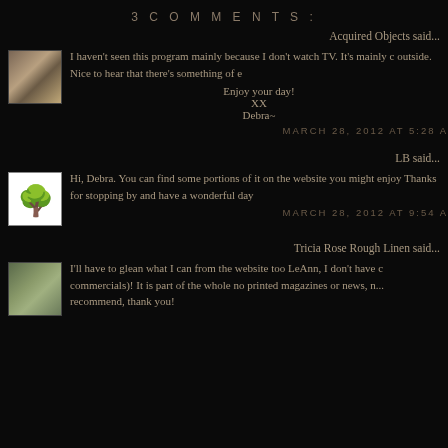3 COMMENTS:
Acquired Objects said...
I haven't seen this program mainly because I don't watch TV. It's mainly outside. Nice to hear that there's something of e
Enjoy your day!
XX
Debra~
MARCH 28, 2012 AT 5:28 A
LB said...
Hi, Debra. You can find some portions of it on the website you might enjoy. Thanks for stopping by and have a wonderful day
MARCH 28, 2012 AT 9:54 A
Tricia Rose Rough Linen said...
I'll have to glean what I can from the website too LeAnn, I don't have commercials)! It is part of the whole no printed magazines or news, n... recommend, thank you!